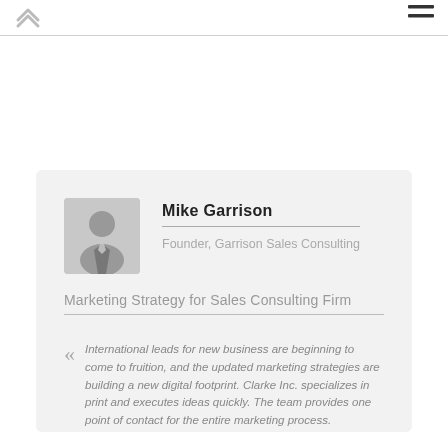[Figure (illustration): Up arrow / back-to-top icon in the top-left of the page header]
[Figure (illustration): Hamburger menu icon (three horizontal lines) in the top-right of the page header]
[Figure (photo): Grayscale avatar placeholder image of a person in a suit]
Mike Garrison
Founder, Garrison Sales Consulting
Marketing Strategy for Sales Consulting Firm
International leads for new business are beginning to come to fruition, and the updated marketing strategies are building a new digital footprint. Clarke Inc. specializes in print and executes ideas quickly. The team provides one point of contact for the entire marketing process.